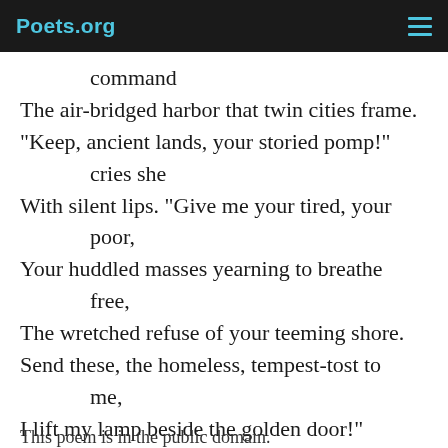Poets.org
command
The air-bridged harbor that twin cities frame.
"Keep, ancient lands, your storied pomp!"
        cries she
With silent lips. "Give me your tired, your
        poor,
Your huddled masses yearning to breathe
        free,
The wretched refuse of your teeming shore.
Send these, the homeless, tempest-tost to
        me,
I lift my lamp beside the golden door!"
This poem is in the public domain.